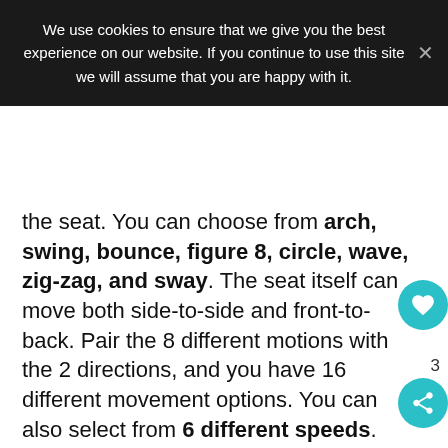We use cookies to ensure that we give you the best experience on our website. If you continue to use this site we will assume that you are happy with it.
the seat. You can choose from arch, swing, bounce, figure 8, circle, wave, zig-zag, and sway. The seat itself can move both side-to-side and front-to-back. Pair the 8 different motions with the 2 directions, and you have 16 different movement options. You can also select from 6 different speeds.
The seat offers two different levels of vibration to help soothe your baby. There are 3 recline positions, an adjustable mobile with a few toys on it, removable head support for the littlest riders, and 15 different songs and sounds